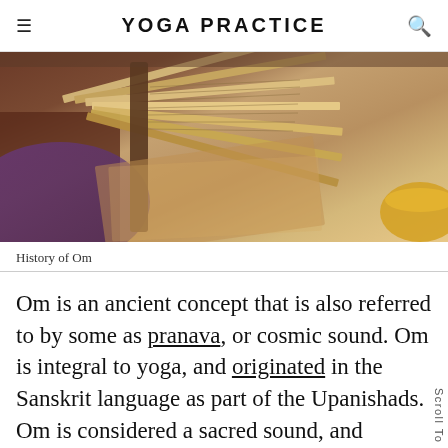YOGA PRACTICE
[Figure (photo): Close-up photograph of ancient Sanskrit manuscripts or old books with yellowed pages fanned open, with purple fabric and a yellow bowl visible in the background.]
History of Om
Om is an ancient concept that is also referred to by some as pranava, or cosmic sound. Om is integral to yoga, and originated in the Sanskrit language as part of the Upanishads. Om is considered a sacred sound, and scholars even see nods to Om in other religions such as Islam, Christianity, and Judaism. There are multiple historical texts which explain the